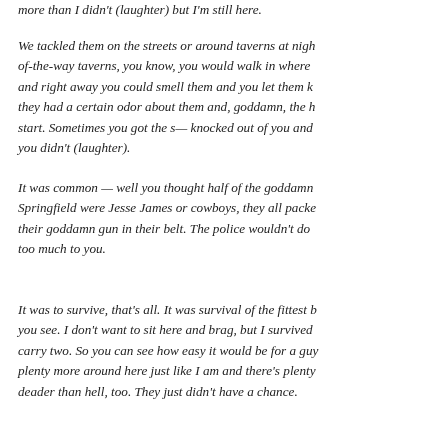more than I didn't (laughter) but I'm still here.
We tackled them on the streets or around taverns at night, of-the-way taverns, you know, you would walk in where and right away you could smell them and you let them know they had a certain odor about them and, goddamn, the h start. Sometimes you got the s— knocked out of you and you didn't (laughter).
It was common — well you thought half of the goddamn Springfield were Jesse James or cowboys, they all packed their goddamn gun in their belt. The police wouldn't do too much to you.
It was to survive, that's all. It was survival of the fittest b you see. I don't want to sit here and brag, but I survived carry two. So you can see how easy it would be for a guy plenty more around here just like I am and there's plenty deader than hell, too. They just didn't have a chance.